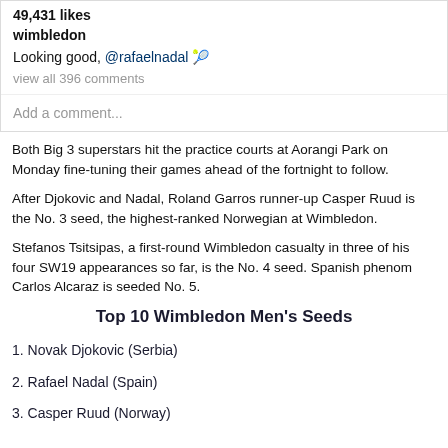49,431 likes
wimbledon
Looking good, @rafaelnadal 🎾
view all 396 comments
Add a comment...
Both Big 3 superstars hit the practice courts at Aorangi Park on Monday fine-tuning their games ahead of the fortnight to follow.
After Djokovic and Nadal, Roland Garros runner-up Casper Ruud is the No. 3 seed, the highest-ranked Norwegian at Wimbledon.
Stefanos Tsitsipas, a first-round Wimbledon casualty in three of his four SW19 appearances so far, is the No. 4 seed. Spanish phenom Carlos Alcaraz is seeded No. 5.
Top 10 Wimbledon Men's Seeds
1. Novak Djokovic (Serbia)
2. Rafael Nadal (Spain)
3. Casper Ruud (Norway)